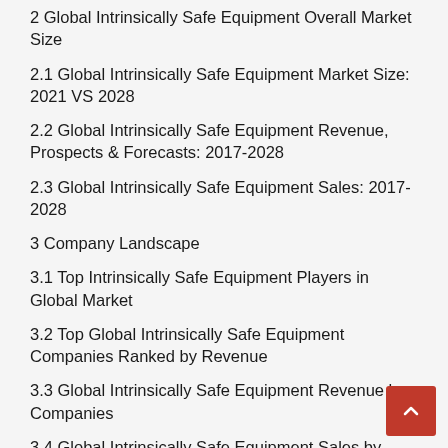2 Global Intrinsically Safe Equipment Overall Market Size
2.1 Global Intrinsically Safe Equipment Market Size: 2021 VS 2028
2.2 Global Intrinsically Safe Equipment Revenue, Prospects & Forecasts: 2017-2028
2.3 Global Intrinsically Safe Equipment Sales: 2017-2028
3 Company Landscape
3.1 Top Intrinsically Safe Equipment Players in Global Market
3.2 Top Global Intrinsically Safe Equipment Companies Ranked by Revenue
3.3 Global Intrinsically Safe Equipment Revenue by Companies
3.4 Global Intrinsically Safe Equipment Sales by Companies